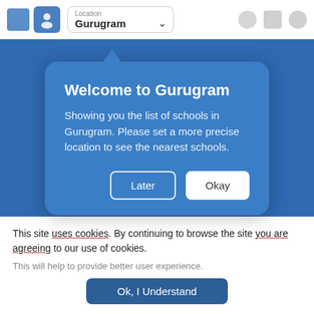[Figure (screenshot): App navigation bar with location dropdown showing 'Gurugram' and right-side icons]
[Figure (screenshot): Blue background section of a school listing app with a modal popup titled 'Welcome to Gurugram' saying 'Showing you the list of schools in Gurugram. Please set a more precise location to see the nearest schools.' with Later and Okay buttons. Blurred footer text visible behind modal.]
This site uses cookies. By continuing to browse the site you are agreeing to our use of cookies.
This will help to provide better user experience.
Ok, I Understand